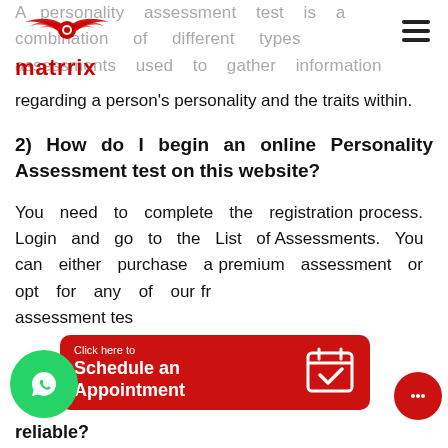[Figure (logo): Matrrix logo with red winged symbol and text 'matrrix']
A personality assessment test is a combination of different types assessments used to gather information regarding a person's personality and the traits within.
2) How do I begin an online Personality Assessment test on this website?
You need to complete the registration process. Login and go to the List of Assessments. You can either purchase a premium assessment or opt for any of our free assessments.
[Figure (infographic): Red schedule appointment bar with calendar icon overlay, green WhatsApp button, red chat button]
reliable?